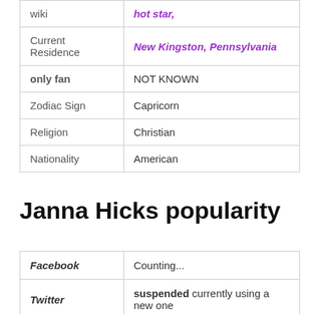| wiki | hot star, |
| Current Residence | New Kingston, Pennsylvania |
| only fan | NOT KNOWN |
| Zodiac Sign | Capricorn |
| Religion | Christian |
| Nationality | American |
Janna Hicks popularity
| Facebook | Counting... |
| Twitter | suspended currently using a new one |